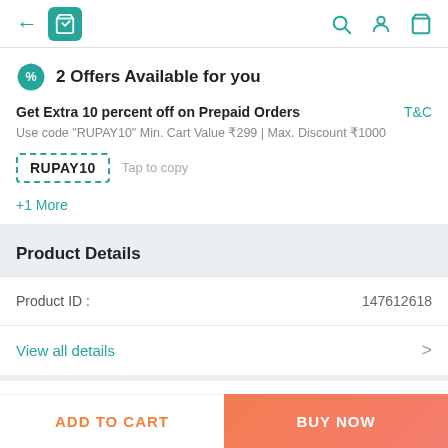← [bag icon] [search] [profile] [cart]
2 Offers Available for you
Get Extra 10 percent off on Prepaid Orders   T&C
Use code "RUPAY10" Min. Cart Value ₹299 | Max. Discount ₹1000
RUPAY10   Tap to copy
+1 More
Product Details
Product ID :   147612618
View all details >
ADD TO CART   BUY NOW